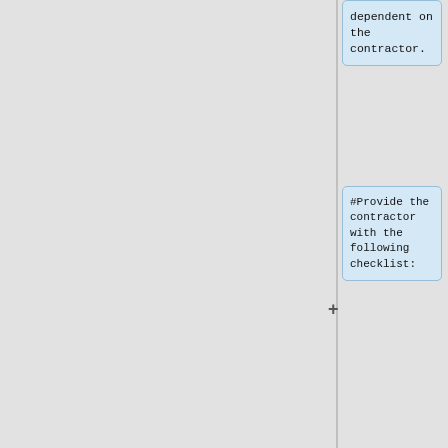dependent on the contractor.
#Provide the contractor with the following checklist:
#* [https://www.michigan.gov/mdot/0,4616,7-151-9622_11044_11367-222170-,00.html Prevailing Wage Compliance]